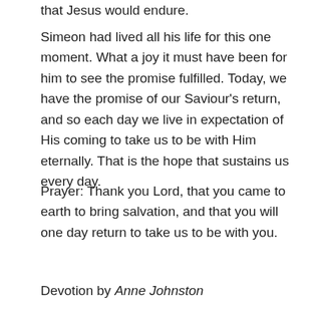that Jesus would endure.
Simeon had lived all his life for this one moment. What a joy it must have been for him to see the promise fulfilled. Today, we have the promise of our Saviour’s return, and so each day we live in expectation of His coming to take us to be with Him eternally. That is the hope that sustains us every day.
Prayer: Thank you Lord, that you came to earth to bring salvation, and that you will one day return to take us to be with you.
Devotion by Anne Johnston